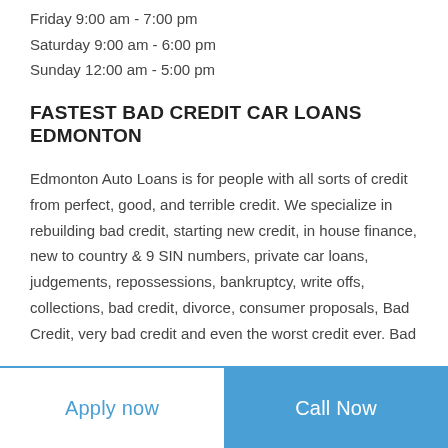Friday 9:00 am - 7:00 pm
Saturday 9:00 am - 6:00 pm
Sunday 12:00 am - 5:00 pm
FASTEST BAD CREDIT CAR LOANS EDMONTON
Edmonton Auto Loans is for people with all sorts of credit from perfect, good, and terrible credit. We specialize in rebuilding bad credit, starting new credit, in house finance, new to country & 9 SIN numbers, private car loans, judgements, repossessions, bankruptcy, write offs, collections, bad credit, divorce, consumer proposals, Bad Credit, very bad credit and even the worst credit ever. Bad
Apply now   Call Now